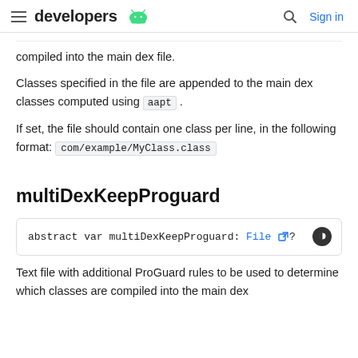developers [android logo] | Sign in
compiled into the main dex file.
Classes specified in the file are appended to the main dex classes computed using aapt .
If set, the file should contain one class per line, in the following format: com/example/MyClass.class
multiDexKeepProguard
abstract var multiDexKeepProguard: File ?
Text file with additional ProGuard rules to be used to determine which classes are compiled into the main dex